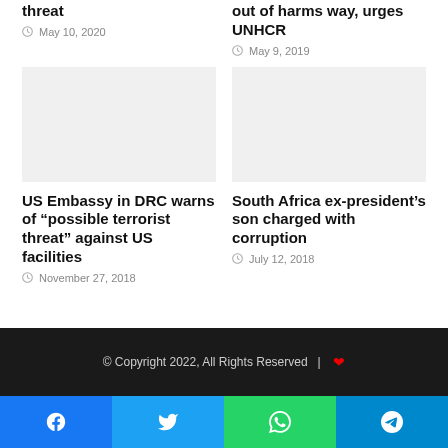threat
May 10, 2020
out of harms way, urges UNHCR
May 9, 2019
[Figure (photo): Image placeholder left article]
[Figure (photo): Image placeholder right article]
US Embassy in DRC warns of “possible terrorist threat” against US facilities
November 27, 2018
South Africa ex-president’s son charged with corruption
July 12, 2018
© Copyright 2022, All Rights Reserved  |  ♥